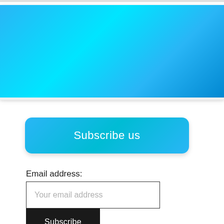[Figure (illustration): Large blue gradient banner rectangle spanning the full width of the page at the top]
[Figure (illustration): Blue rounded rectangle button with text 'Subscribe us' in white]
Email address:
[Figure (screenshot): Text input field with placeholder text 'Your email address' with a dark border]
[Figure (illustration): Dark/black rectangular button with white text 'Subscribe']